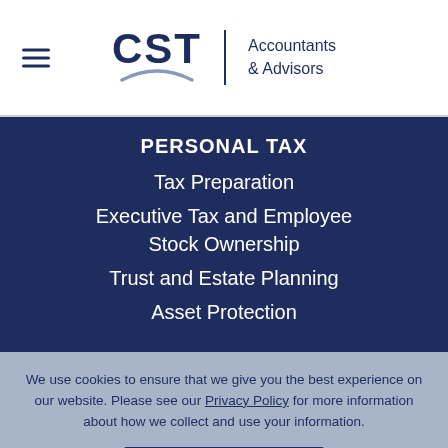CST Accountants & Advisors
PERSONAL TAX
Tax Preparation
Executive Tax and Employee Stock Ownership
Trust and Estate Planning
Asset Protection
We use cookies to ensure that we give you the best experience on our website. Please see our Privacy Policy for more information about how we collect and use your information.